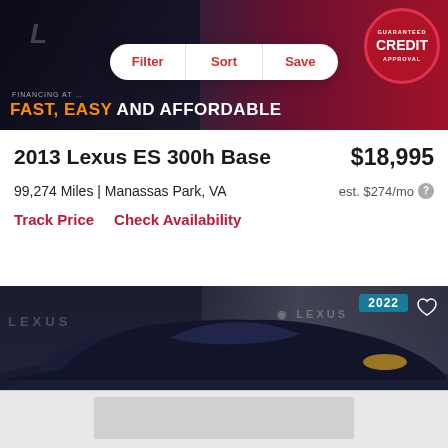[Figure (photo): Car dealership advertisement banner with dark background, text 'FINANCING AT... FAST, EASY AND AFFORDABLE', Lexus car on left, red guaranteed credit approval badge on right. Filter/Sort/Save pill button overlay.]
Filter  Sort  Save
2013 Lexus ES 300h Base
$18,995
99,274 Miles | Manassas Park, VA
est. $274/mo
Track Price    Check Availability
[Figure (photo): 2022 Lexus dark blue sedan photographed in a showroom with white curtain backdrop and Lexus branding on wall. Heart/save icon and year badge '2022' visible in top right corner.]